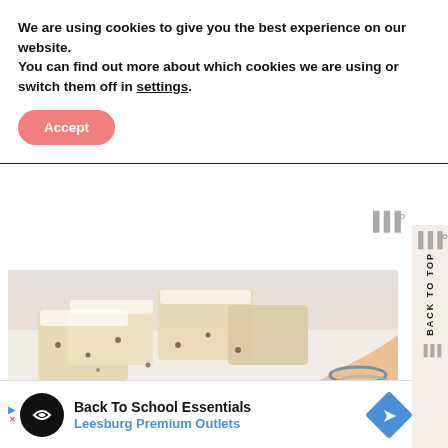We are using cookies to give you the best experience on our website.
You can find out more about which cookies we are using or switch them off in settings.
Accept
[Figure (photo): A hand with bracelets picking up a baked dessert bar dusted with powdered sugar and chocolate chips, with more bars in the background on a white surface.]
Back To School Essentials
Leesburg Premium Outlets